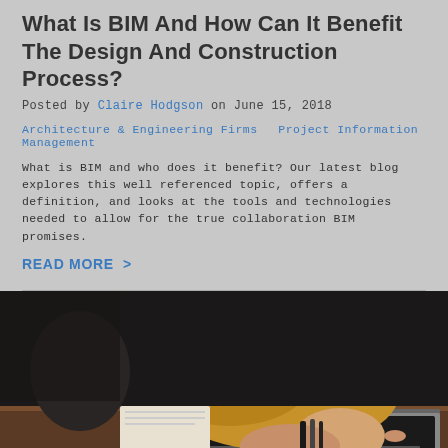What Is BIM And How Can It Benefit The Design And Construction Process?
Posted by Claire Hodgson on June 15, 2018
Architecture & Engineering Firms   Project Information Management
What is BIM and who does it benefit? Our latest blog explores this well referenced topic, offers a definition, and looks at the tools and technologies needed to allow for the true collaboration BIM promises.
READ MORE  >
[Figure (photo): Close-up photo of a person wearing a yellow/mustard sweater with bangles on their wrist, typing on a laptop computer placed on a wooden surface. The image has warm, moody tones with dark background.]
Technology In Business – Is Digital Driving Better Investments And Outcomes?